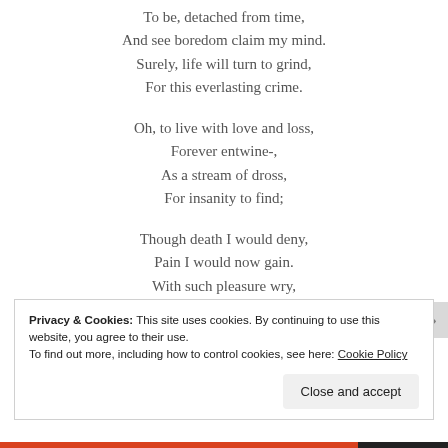To be, detached from time,
And see boredom claim my mind.
Surely, life will turn to grind,
For this everlasting crime.
Oh, to live with love and loss,
Forever entwine-,
As a stream of dross,
For insanity to find;
Though death I would deny,
Pain I would now gain.
With such pleasure wry,
Privacy & Cookies: This site uses cookies. By continuing to use this website, you agree to their use.
To find out more, including how to control cookies, see here: Cookie Policy
Close and accept